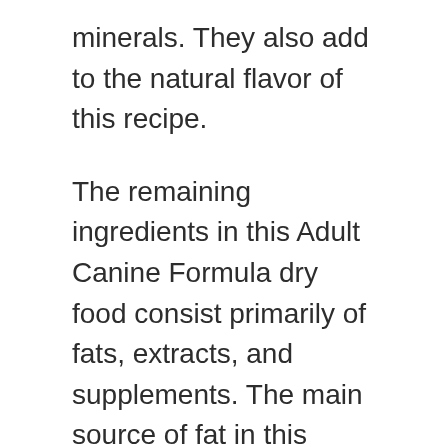minerals. They also add to the natural flavor of this recipe.
The remaining ingredients in this Adult Canine Formula dry food consist primarily of fats, extracts, and supplements. The main source of fat in this recipe is chicken fat which, while it might not sound like an appetizing ingredient to you, is actually a highly concentrated source of energy for dogs – this makes it a very valuable ingredient. This recipe contains supplementary fats like flaxseeds, coconut oil, and fish oil which help to balance out the